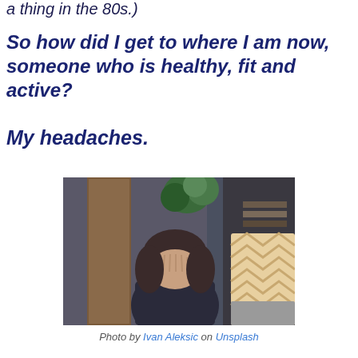a thing in the 80s.)
So how did I get to where I am now, someone who is healthy, fit and active?
My headaches.
[Figure (photo): A person sitting in a patterned armchair with their face buried in their hands, appearing to have a headache, with a plant and shelving visible in the background.]
Photo by Ivan Aleksic on Unsplash